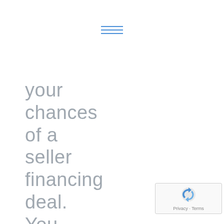[Figure (other): Hamburger menu icon with three horizontal blue lines]
your chances of a seller financing deal. You want to ATTRACT the seller